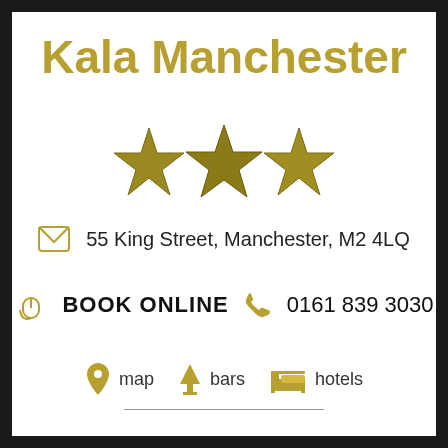Kala Manchester
[Figure (illustration): Three gold/olive star icons representing a 3-star hotel rating]
55 King Street, Manchester, M2 4LQ
BOOK ONLINE   0161 839 3030
map   bars   hotels